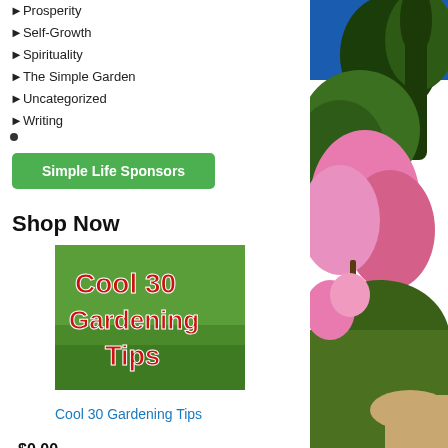Prosperity
Self-Growth
Spirituality
The Simple Garden
Uncategorized
Writing
Simple Life Sponsors
Shop Now
[Figure (photo): Book cover: Cool 30 Gardening Tips with red text on green grass background]
Cool 30 Gardening Tips
$0.00
[Figure (photo): Book cover: Backyard Homestead, orange/yellow cover, partially visible]
[Figure (photo): Right column: outdoor garden photo with pink flowering shrubs, cypress trees, blue sky, and a path]